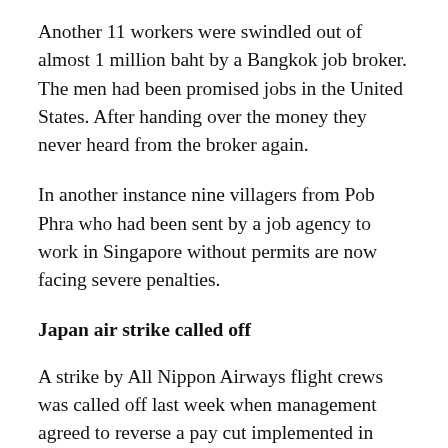Another 11 workers were swindled out of almost 1 million baht by a Bangkok job broker. The men had been promised jobs in the United States. After handing over the money they never heard from the broker again.
In another instance nine villagers from Pob Phra who had been sent by a job agency to work in Singapore without permits are now facing severe penalties.
Japan air strike called off
A strike by All Nippon Airways flight crews was called off last week when management agreed to reverse a pay cut implemented in March 1997.
However, no settlement has been reached on the major issues that sparked strike action, including the introduction of a salary restructuring scheme for pilots and flight engineers. Imposed on April 1, the scheme